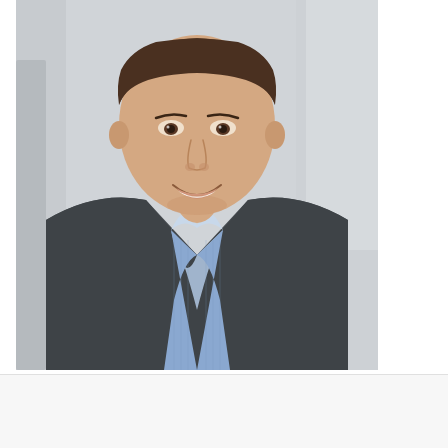[Figure (photo): Professional headshot of a smiling man in a gray blazer and blue checkered shirt, with a light background]
Jeff Marmins
Feb 1, 2021
0